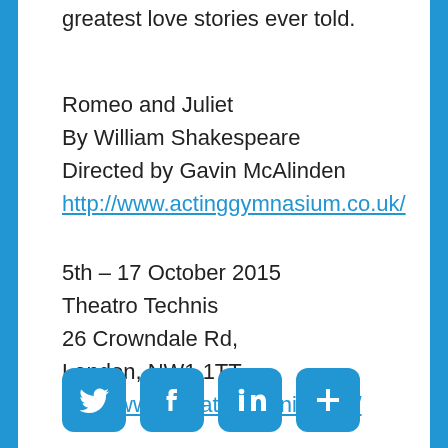greatest love stories ever told.
Romeo and Juliet
By William Shakespeare
Directed by Gavin McAlinden
http://www.actinggymnasium.co.uk/
5th – 17 October 2015
Theatro Technis
26 Crowndale Rd,
London, NW1 1TT
http://www.theatrotechnis.com/
[Figure (infographic): Four social media icon buttons: Twitter, Facebook, LinkedIn, and a share/plus button, all in blue with rounded corners]